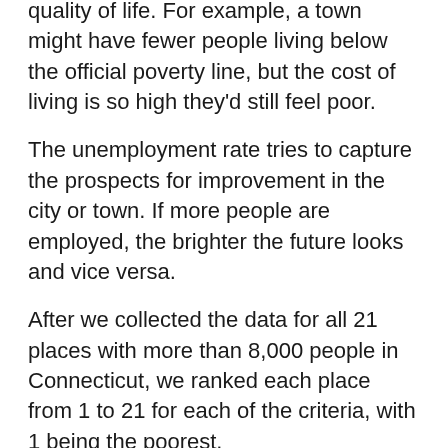quality of life. For example, a town might have fewer people living below the official poverty line, but the cost of living is so high they'd still feel poor.
The unemployment rate tries to capture the prospects for improvement in the city or town. If more people are employed, the brighter the future looks and vice versa.
After we collected the data for all 21 places with more than 8,000 people in Connecticut, we ranked each place from 1 to 21 for each of the criteria, with 1 being the poorest.
We then averaged all the rankings for a place into a "Poor Score" with the place having the lowest overall Poor Score that found...